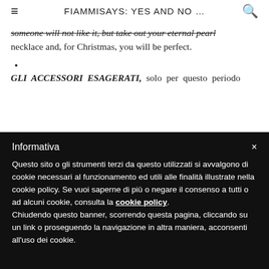FIAMMISAYS: YES AND NO …
someone will not like it, but take out your eternal pearl necklace and, for Christmas, you will be perfect.
GLI ACCESSORI ESAGERATI, solo per questo periodo
Informativa
Questo sito o gli strumenti terzi da questo utilizzati si avvalgono di cookie necessari al funzionamento ed utili alle finalità illustrate nella cookie policy. Se vuoi saperne di più o negare il consenso a tutti o ad alcuni cookie, consulta la cookie policy. Chiudendo questo banner, scorrendo questa pagina, cliccando su un link o proseguendo la navigazione in altra maniera, acconsenti all'uso dei cookie.